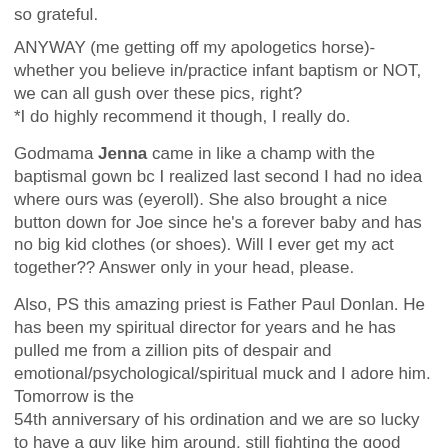so grateful.
ANYWAY (me getting off my apologetics horse)- whether you believe in/practice infant baptism or NOT, we can all gush over these pics, right?
*I do highly recommend it though, I really do.
Godmama Jenna came in like a champ with the baptismal gown bc I realized last second I had no idea where ours was (eyeroll). She also brought a nice button down for Joe since he's a forever baby and has no big kid clothes (or shoes). Will I ever get my act together?? Answer only in your head, please.
Also, PS this amazing priest is Father Paul Donlan. He has been my spiritual director for years and he has pulled me from a zillion pits of despair and emotional/psychological/spiritual muck and I adore him. Tomorrow is the
54th anniversary of his ordination and we are so lucky to have a guy like him around, still fighting the good fight. He baptized baby Joe and we booked him again for Francis DA...